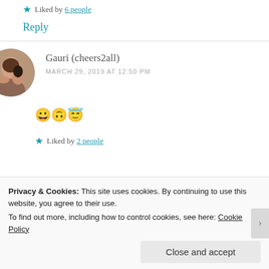★ Liked by 6 people
Reply
Gauri (cheers2all)
MARCH 29, 2019 AT 12:50 PM
😀🙃😇
★ Liked by 2 people
Privacy & Cookies: This site uses cookies. By continuing to use this website, you agree to their use.
To find out more, including how to control cookies, see here: Cookie Policy
Close and accept